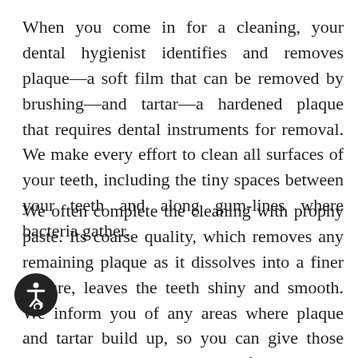When you come in for a cleaning, your dental hygienist identifies and removes plaque—a soft film that can be removed by brushing—and tartar—a hardened plaque that requires dental instruments for removal. We make every effort to clean all surfaces of your teeth, including the tiny spaces between your teeth and along gum-lines where bacteria gather.
We often complete the cleaning with prophy paste. Its coarse quality, which removes any remaining plaque as it dissolves into a finer texture, leaves the teeth shiny and smooth. We inform you of any areas where plaque and tartar build up, so you can give those places extra attention by flossing and brushing each day. Our goal is to enable you to easily and effectively care for your